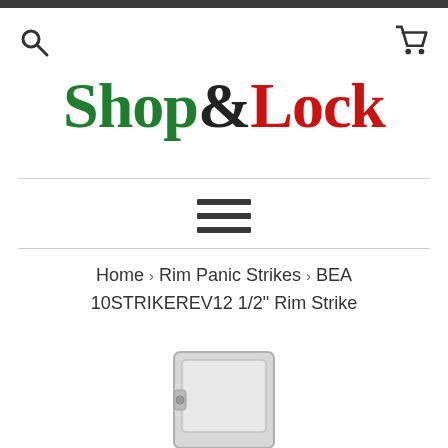[Figure (logo): Shop&Lock logo with Shop in green, & in black, Lock in red, serif bold font]
Home › Rim Panic Strikes › BEA 10STRIKEREV12 1/2" Rim Strike
[Figure (photo): Partial view of a BEA 10STRIKEREV12 1/2 Rim Strike hardware product, silver/gray finish, showing the top portion of the strike plate]